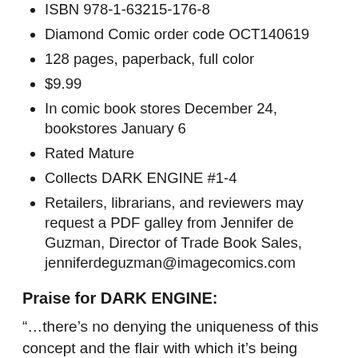ISBN 978-1-63215-176-8
Diamond Comic order code OCT140619
128 pages, paperback, full color
$9.99
In comic book stores December 24, bookstores January 6
Rated Mature
Collects DARK ENGINE #1-4
Retailers, librarians, and reviewers may request a PDF galley from Jennifer de Guzman, Director of Trade Book Sales, jenniferdeguzman@imagecomics.com
Praise for DARK ENGINE:
“…there’s no denying the uniqueness of this concept and the flair with which it’s being executed. There’s nothing like watching a vicious character set history on fire; and even if that’s an